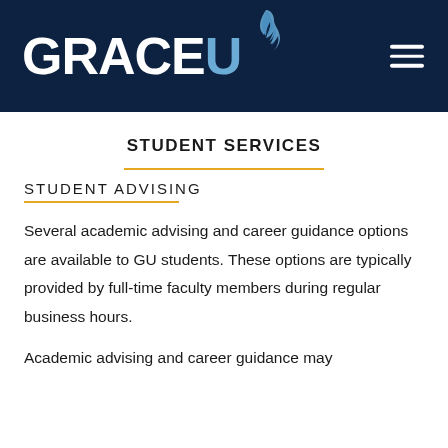[Figure (logo): GraceU university logo with flame icon on dark navy background with hamburger menu icon]
STUDENT SERVICES
STUDENT ADVISING
Several academic advising and career guidance options are available to GU students. These options are typically provided by full-time faculty members during regular business hours.
Academic advising and career guidance may